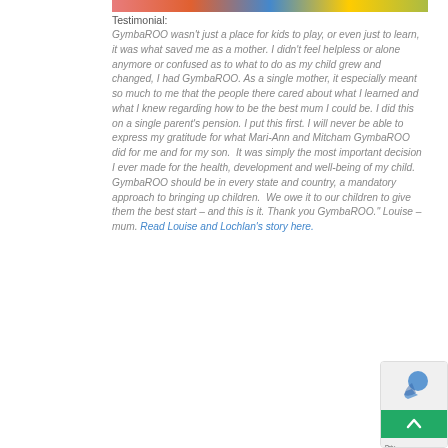[Figure (illustration): Colorful banner strip at the top with rainbow/multicolor gradient sections]
Testimonial:
GymbaROO wasn't just a place for kids to play, or even just to learn, it was what saved me as a mother. I didn't feel helpless or alone anymore or confused as to what to do as my child grew and changed, I had GymbaROO. As a single mother, it especially meant so much to me that the people there cared about what I learned and what I knew regarding how to be the best mum I could be. I did this on a single parent's pension. I put this first. I will never be able to express my gratitude for what Mari-Ann and Mitcham GymbaROO did for me and for my son.  It was simply the most important decision I ever made for the health, development and well-being of my child. GymbaROO should be in every state and country, a mandatory approach to bringing up children.  We owe it to our children to give them the best start – and this is it. Thank you GymbaROO." Louise – mum. Read Louise and Lochlan's story here.